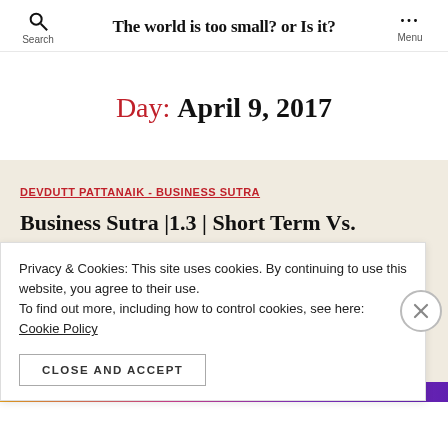The world is too small? or Is it?
Day: April 9, 2017
DEVDUTT PATTANAIK - BUSINESS SUTRA
Business Sutra |1.3 | Short Term Vs.
Privacy & Cookies: This site uses cookies. By continuing to use this website, you agree to their use. To find out more, including how to control cookies, see here: Cookie Policy
CLOSE AND ACCEPT